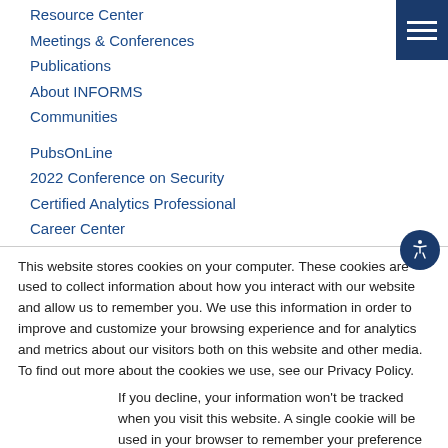Resource Center
Meetings & Conferences
Publications
About INFORMS
Communities
PubsOnLine
2022 Conference on Security
Certified Analytics Professional
Career Center
This website stores cookies on your computer. These cookies are used to collect information about how you interact with our website and allow us to remember you. We use this information in order to improve and customize your browsing experience and for analytics and metrics about our visitors both on this website and other media. To find out more about the cookies we use, see our Privacy Policy.
If you decline, your information won’t be tracked when you visit this website. A single cookie will be used in your browser to remember your preference not to be tracked.